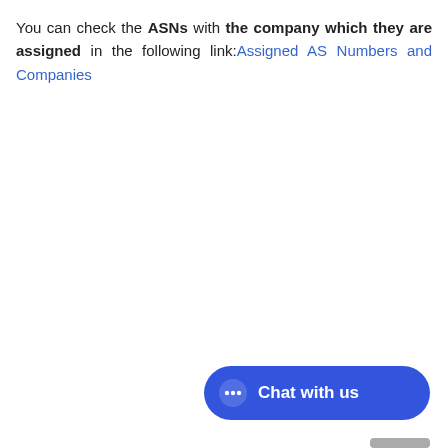You can check the ASNs with the company which they are assigned in the following link: Assigned AS Numbers and Companies
[Figure (other): Blue chat widget button with speech bubble icon and text 'Chat with us']